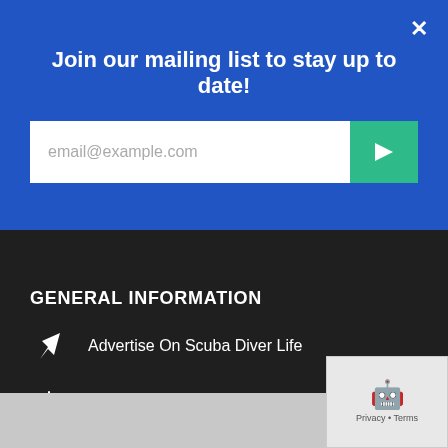Join our mailing list to stay up to date!
[Figure (screenshot): Email input field with placeholder 'email@example.com' and a teal submit arrow button]
[Figure (logo): SiteKit logo with chain link icon]
GENERAL INFORMATION
Advertise On Scuba Diver Life
Disclaimer
Privacy Policy
Terms Of Use